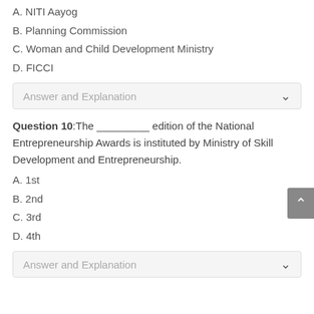A. NITI Aayog
B. Planning Commission
C. Woman and Child Development Ministry
D. FICCI
Answer and Explanation
Question 10: The _________ edition of the National Entrepreneurship Awards is instituted by Ministry of Skill Development and Entrepreneurship.
A. 1st
B. 2nd
C. 3rd
D. 4th
Answer and Explanation